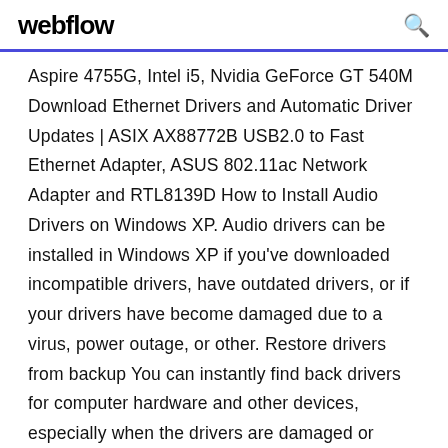webflow
Aspire 4755G, Intel i5, Nvidia GeForce GT 540M Download Ethernet Drivers and Automatic Driver Updates | ASIX AX88772B USB2.0 to Fast Ethernet Adapter, ASUS 802.11ac Network Adapter and RTL8139D How to Install Audio Drivers on Windows XP. Audio drivers can be installed in Windows XP if you've downloaded incompatible drivers, have outdated drivers, or if your drivers have become damaged due to a virus, power outage, or other. Restore drivers from backup You can instantly find back drivers for computer hardware and other devices, especially when the drivers are damaged or missing. SlimDrivers, free and safe download. SlimDrivers latest version: Analyze and update